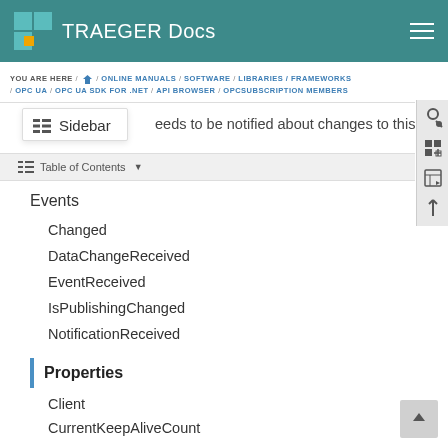TRAEGER Docs
YOU ARE HERE / Home / ONLINE MANUALS / SOFTWARE / LIBRARIES / FRAMEWORKS / OPC UA / OPC UA SDK FOR .NET / API BROWSER / OPCSUBSCRIPTION MEMBERS
Sidebar
Table of Contents
eeds to be notified about changes to this
Events
Changed
DataChangeReceived
EventReceived
IsPublishingChanged
NotificationReceived
Properties
Client
CurrentKeepAliveCount